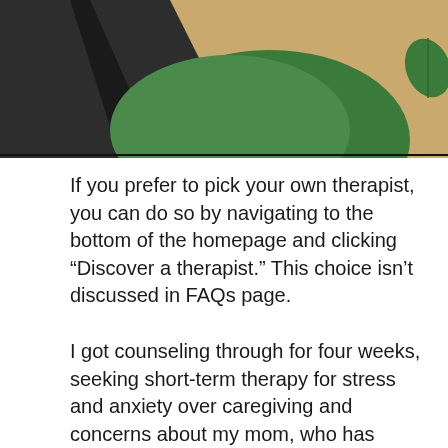[Figure (illustration): Decorative graphic showing dark charcoal/black angular shape on left, green curved shape in center, and tan/beige background on right, with a small green leaf icon in the upper right corner. Bottom edge has a thin black border line.]
If you prefer to pick your own therapist, you can do so by navigating to the bottom of the homepage and clicking “Discover a therapist.” This choice isn’t discussed in FAQs page.
I got counseling through for four weeks, seeking short-term therapy for stress and anxiety over caregiving and concerns about my mom, who has health problems and lives in another state. I also wanted to find out ways to better interact with my siblings, with whom I sometimes clash over caregiving matters.